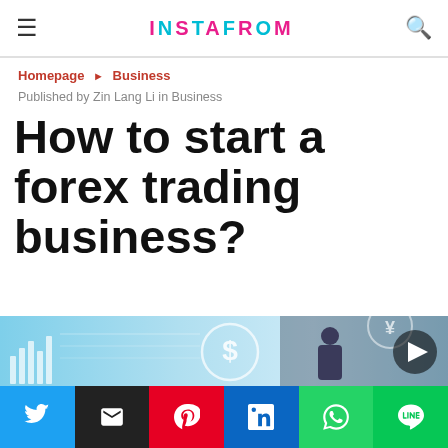INSTAFROM
Homepage ▶ Business
Published by Zin Lang Li in Business
How to start a forex trading business?
[Figure (photo): Person touching a digital finance/forex screen with currency symbols (dollar, yen) and holographic charts in a futuristic trading environment.]
[Figure (infographic): Social sharing bar with Twitter (blue), Email (black), Pinterest (red), LinkedIn (blue), WhatsApp (green), LINE (green) buttons.]